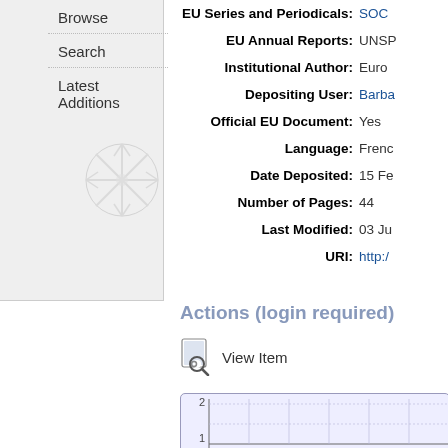Browse
Search
Latest Additions
EU Series and Periodicals: SOC...
EU Annual Reports: UNSP...
Institutional Author: Euro...
Depositing User: Barba...
Official EU Document: Yes
Language: Frenc...
Date Deposited: 15 Fe...
Number of Pages: 44
Last Modified: 03 Ju...
URI: http://...
Actions (login required)
View Item
[Figure (bar-chart): Downloads bar chart, partially visible, y-axis shows values 1 and 2 labeled 'Downloads']